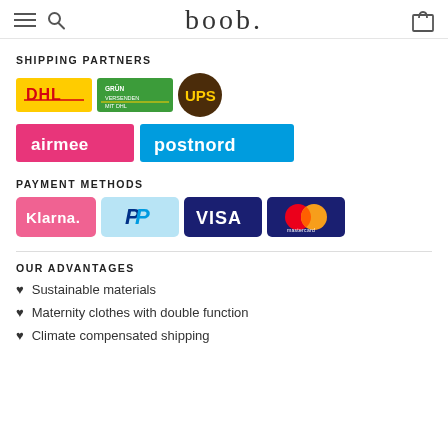boob.
SHIPPING PARTNERS
[Figure (logo): DHL, Grün Versenden mit DHL, UPS, airmee, postnord shipping partner logos]
PAYMENT METHODS
[Figure (logo): Klarna, PayPal, VISA, Mastercard payment method logos]
OUR ADVANTAGES
Sustainable materials
Maternity clothes with double function
Climate compensated shipping